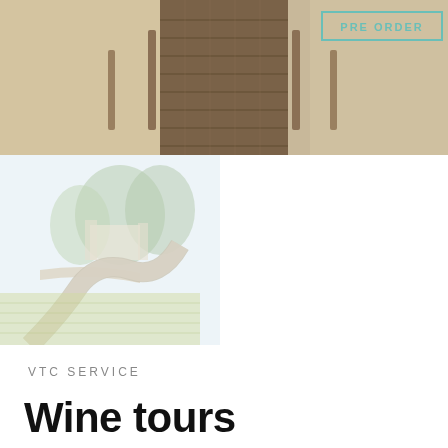[Figure (photo): Top banner photo of a wooden boardwalk path through sandy beach terrain with wooden posts on either side. A teal/green 'PRE ORDER' button overlay is visible near the top center.]
[Figure (photo): Bottom-left photo of a winding road through a vineyard/wine country landscape with green fields in the foreground and trees in the background, faded/light treatment.]
VTC SERVICE
Wine tours